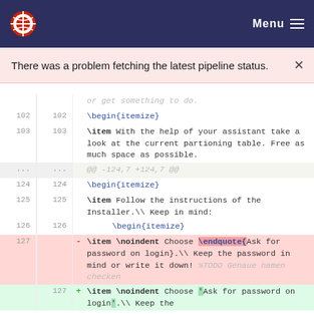Menu
There was a problem fetching the latest pipeline status.
102 102 \begin{itemize}
103 103 \item With the help of your assistant take a look at the current partioning table. Free as much space as possible.
... ... @@ -124,7 +124,7 @@
124 124 \begin{itemize}
125 125 \item Follow the instructions of the Installer.\\ Keep in mind:
126 126 \begin{itemize}
127 - \item \noindent Choose \endquote{Ask for password on login}.\\ Keep the password in mind or write it down! %TODO Genaue namen checken
127 + \item \noindent Choose 'Ask for password on login'.\\ Keep the